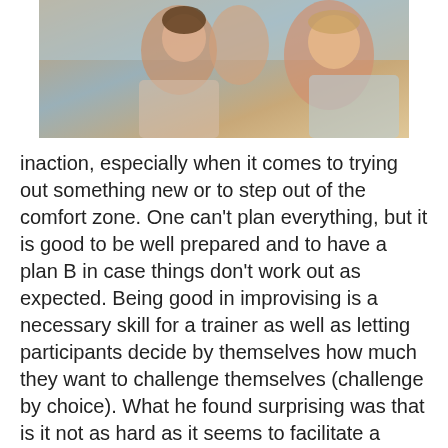[Figure (photo): Photo of people, showing a smiling young man and others in an outdoor or casual setting]
inaction, especially when it comes to trying out something new or to step out of the comfort zone. One can't plan everything, but it is good to be well prepared and to have a plan B in case things don't work out as expected. Being good in improvising is a necessary skill for a trainer as well as letting participants decide by themselves how much they want to challenge themselves (challenge by choice). What he found surprising was that is it not as hard as it seems to facilitate a workshop because many things are repetitive and if one knows the basic concepts and methods the rest will just fall in place. But one shouldn't forget that there is always more than meets the eye of a participant. There is a lot of work and preparation necessary in order to be successful in conducting activities...